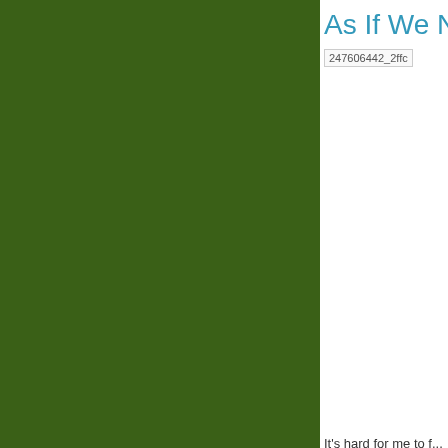As If We N
[Figure (photo): Broken image placeholder showing filename 247606442_2ffc...]
It's hard for me to f... anyone would mak...
In related news, Ne... Gonzalez to resign...
Since we have not... Gonzalez.
Thanks to Flickr m...
May 16, 2007 9:16...